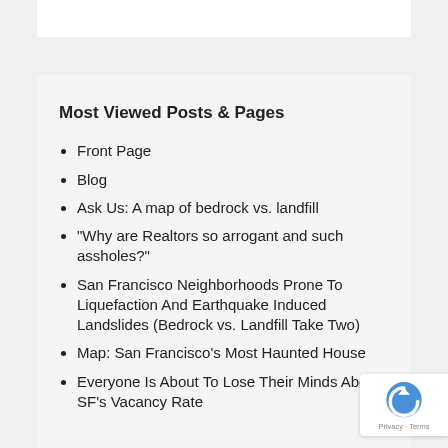Most Viewed Posts & Pages
Front Page
Blog
Ask Us: A map of bedrock vs. landfill
"Why are Realtors so arrogant and such assholes?"
San Francisco Neighborhoods Prone To Liquefaction And Earthquake Induced Landslides (Bedrock vs. Landfill Take Two)
Map: San Francisco's Most Haunted House
Everyone Is About To Lose Their Minds About SF's Vacancy Rate